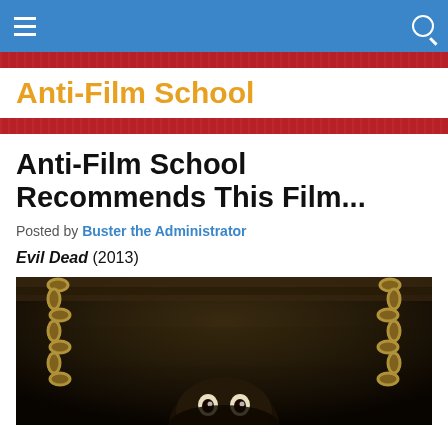Navigation bar with hamburger menu and search icon
Anti-Film School
Anti-Film School Recommends This Film...
Posted by Buster the Administrator
Evil Dead (2013)
[Figure (photo): Dark horror movie still from Evil Dead (2013) showing a chained wooden surface with a shadowy face with wide eyes visible below, chains visible on both sides]